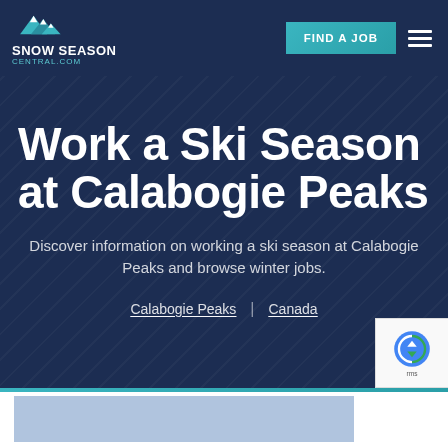[Figure (logo): Snow Season Central logo with mountain peaks icon, white bold text 'SNOW SEASON' and teal 'CENTRAL.COM' below]
FIND A JOB
Work a Ski Season at Calabogie Peaks
Discover information on working a ski season at Calabogie Peaks and browse winter jobs.
Calabogie Peaks | Canada